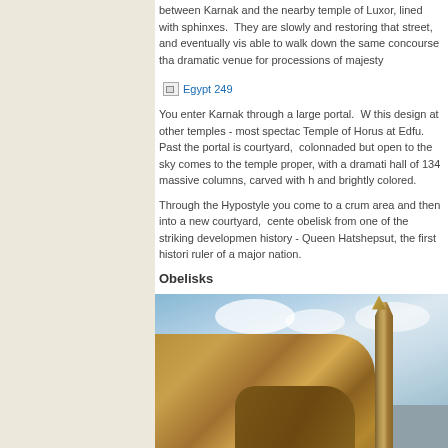between Karnak and the nearby temple of Luxor, lined with sphinxes.  They are slowly and restoring that street, and eventually vis able to walk down the same concourse tha dramatic venue for processions of majesty
[Figure (photo): Broken image link labeled 'Egypt 249']
You enter Karnak through a large portal.  W this design at other temples - most spectac Temple of Horus at Edfu.  Past the portal is courtyard,  colonnaded but open to the sky comes to the temple proper, with a dramati hall of 134 massive columns, carved with h and brightly colored.
Through the Hypostyle you come to a crum area and then into a new courtyard,  cente obelisk from one of the striking developmen history - Queen Hatshepsut, the first histori ruler of a major nation.
Obelisks
[Figure (photo): Photograph of a stone obelisk rising against a blue cloudy sky, with large tan sandstone rocks in the foreground.]